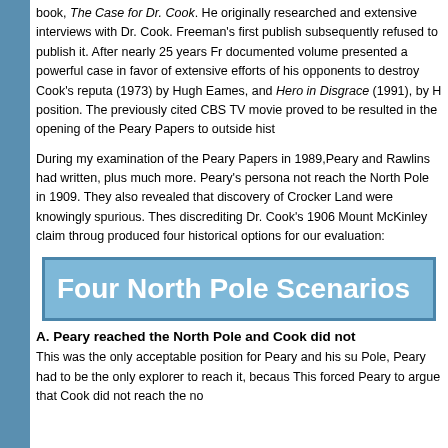book, The Case for Dr. Cook. He originally researched and extensive interviews with Dr. Cook. Freeman's first publish subsequently refused to publish it. After nearly 25 years Fr documented volume presented a powerful case in favor of extensive efforts of his opponents to destroy Cook's reputa (1973) by Hugh Eames, and Hero in Disgrace (1991), by H position. The previously cited CBS TV movie proved to be resulted in the opening of the Peary Papers to outside hist
During my examination of the Peary Papers in 1989, Peary and Rawlins had written, plus much more. Peary's persona not reach the North Pole in 1909. They also revealed that discovery of Crocker Land were knowingly spurious. These discrediting Dr. Cook's 1906 Mount McKinley claim throug produced four historical options for our evaluation:
Four North Pole Scenarios
A. Peary reached the North Pole and Cook did not
This was the only acceptable position for Peary and his su Pole, Peary had to be the only explorer to reach it, becaus This forced Peary to argue that Cook did not reach the no